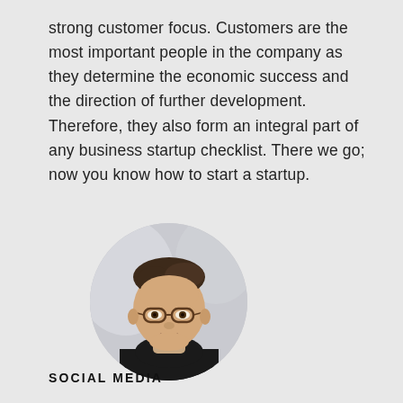strong customer focus. Customers are the most important people in the company as they determine the economic success and the direction of further development. Therefore, they also form an integral part of any business startup checklist. There we go; now you know how to start a startup.
[Figure (photo): Circular cropped portrait photo of a young man with glasses wearing a black turtleneck, set against a light blurred background.]
SOCIAL MEDIA